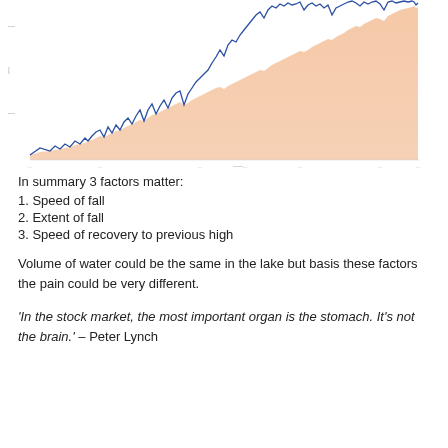[Figure (area-chart): An area chart showing a stock market index or portfolio value growing over time with a salmon/peach filled area and blue spiky line on top representing volatility or drawdowns. The area trends upward from left to right over a long time period. Y-axis has light tick marks, x-axis has many date labels.]
In summary 3 factors matter:
1. Speed of fall
2. Extent of fall
3. Speed of recovery to previous high
Volume of water could be the same in the lake but basis these factors the pain could be very different.
'In the stock market, the most important organ is the stomach. It's not the brain.' – Peter Lynch